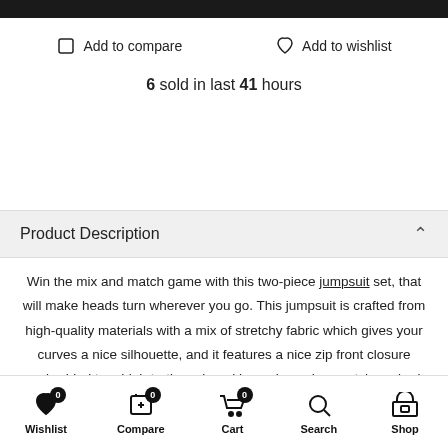Add to compare   Add to wishlist
6 sold in last 41 hours
Product Description
Win the mix and match game with this two-piece jumpsuit set, that will make heads turn wherever you go. This jumpsuit is crafted from high-quality materials with a mix of stretchy fabric which gives your curves a nice silhouette, and it features a nice zip front closure embedded to a high turtleneck and has a long sleeve style, paired with a nice corset top crafted from shiny satin in white with a busk closure and back lace up detail to make your waist look thinner and
Wishlist 0  Compare 0  Cart 0  Search  Shop